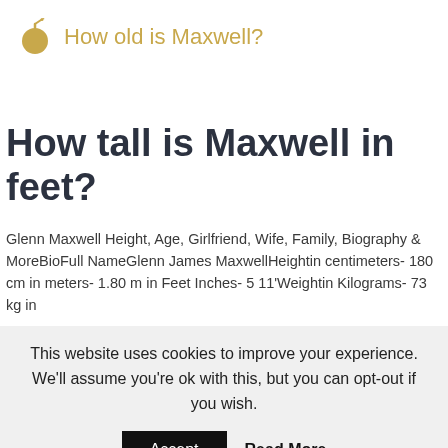How old is Maxwell?
How tall is Maxwell in feet?
Glenn Maxwell Height, Age, Girlfriend, Wife, Family, Biography & MoreBioFull NameGlenn James MaxwellHeightin centimeters- 180 cm in meters- 1.80 m in Feet Inches- 5 11'Weightin Kilograms- 73 kg in
This website uses cookies to improve your experience. We'll assume you're ok with this, but you can opt-out if you wish.
Accept   Read More